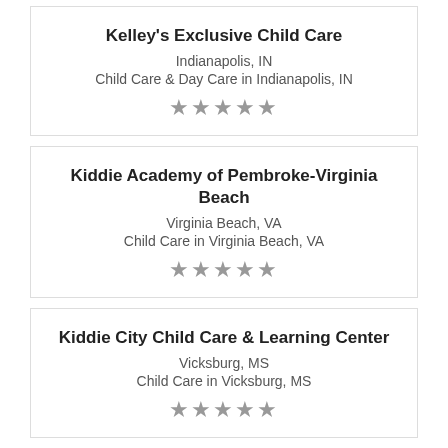Kelley's Exclusive Child Care
Indianapolis, IN
Child Care & Day Care in Indianapolis, IN
★★★★★
Kiddie Academy of Pembroke-Virginia Beach
Virginia Beach, VA
Child Care in Virginia Beach, VA
★★★★★
Kiddie City Child Care & Learning Center
Vicksburg, MS
Child Care in Vicksburg, MS
★★★★★